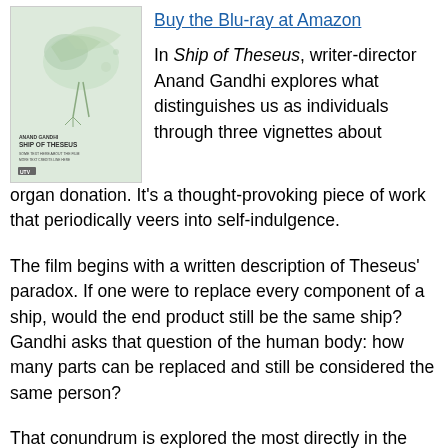[Figure (illustration): Movie poster for Ship of Theseus with watercolor bird and film title text]
Buy the Blu-ray at Amazon
In Ship of Theseus, writer-director Anand Gandhi explores what distinguishes us as individuals through three vignettes about organ donation. It’s a thought-provoking piece of work that periodically veers into self-indulgence.
The film begins with a written description of Theseus’ paradox. If one were to replace every component of a ship, would the end product still be the same ship? Gandhi asks that question of the human body: how many parts can be replaced and still be considered the same person?
That conundrum is explored the most directly in the first vignette, about a blind photographer. Aliya (Aida El-Kashef) took up photography after losing her eyesight, and she relies upon her boyfriend, Vinay (Faraz Khan) to describe to her the pictures she takes. A cornea transplant restores her sight but